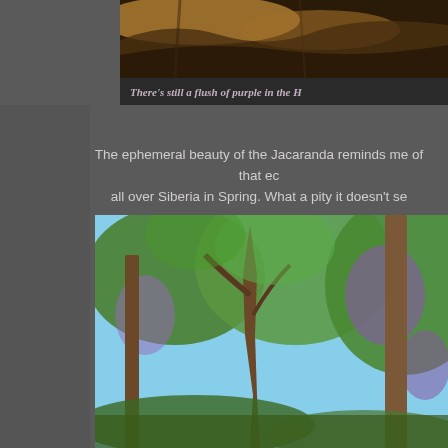[Figure (photo): Top portion of a photo showing a dirt path or road with dry leaves/brush, warm brown and orange tones, partially cropped.]
There's still a flush of purple in the H
The ephemeral beauty of the Jacaranda reminds me of that ec all over Siberia in Spring. What a pity it doesn't se
[Figure (photo): Photo of tall trees in a park or garden setting with purple Jacaranda blooms visible among green foliage, blue sky in background.]